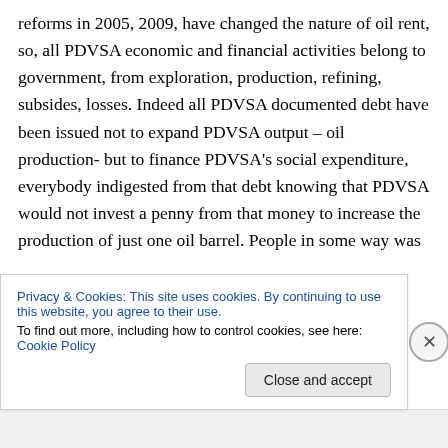reforms in 2005, 2009, have changed the nature of oil rent, so, all PDVSA economic and financial activities belong to government, from exploration, production, refining, subsides, losses. Indeed all PDVSA documented debt have been issued not to expand PDVSA output – oil production- but to finance PDVSA's social expenditure, everybody indigested from that debt knowing that PDVSA would not invest a penny from that money to increase the production of just one oil barrel. People in some way was
Privacy & Cookies: This site uses cookies. By continuing to use this website, you agree to their use.
To find out more, including how to control cookies, see here: Cookie Policy